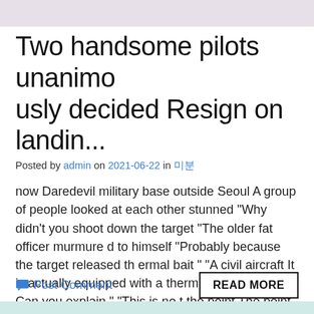Two handsome pilots unanimously decided Resign on landin...
Posted by admin on 2021-06-22 in 미분
now  Daredevil military base outside Seoul  A group of people looked at each other  stunned  "Why didn't you shoot down the target  "The older fat officer murmured to himself   "Probably because the target released thermal bait  " "A civil aircraft  It is actually equipped with a thermal decoy launcher  Can you explain  " "This is not the point  The point is that our missile [...]
Post Comment
READ MORE